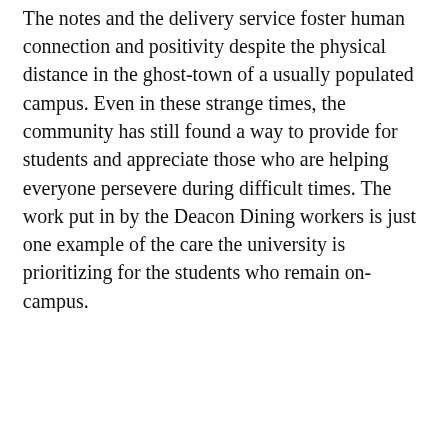The notes and the delivery service foster human connection and positivity despite the physical distance in the ghost-town of a usually populated campus. Even in these strange times, the community has still found a way to provide for students and appreciate those who are helping everyone persevere during difficult times. The work put in by the Deacon Dining workers is just one example of the care the university is prioritizing for the students who remain on-campus.
Leave a Comment
[Figure (logo): SNO ads logo on a light yellow background with a person's photo partially visible]